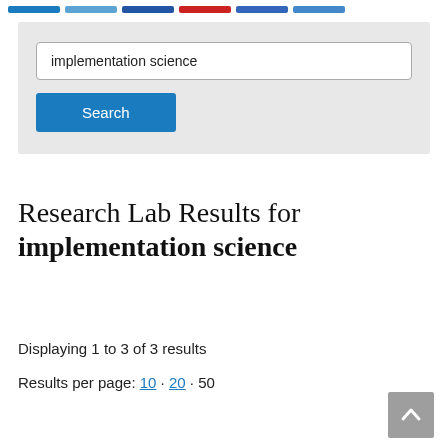navigation bar segments
[Figure (screenshot): Search box with text 'implementation science' and a blue Search button below it, on a light grey background]
Research Lab Results for implementation science
Displaying 1 to 3 of 3 results
Results per page: 10 · 20 · 50